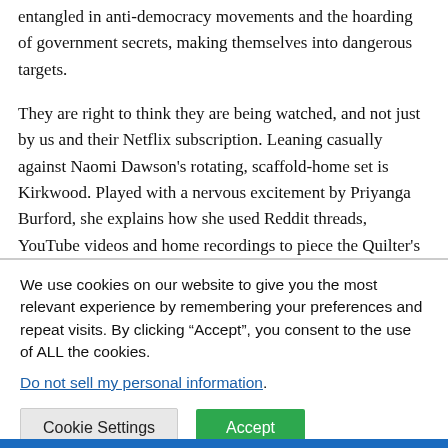entangled in anti-democracy movements and the hoarding of government secrets, making themselves into dangerous targets.
They are right to think they are being watched, and not just by us and their Netflix subscription. Leaning casually against Naomi Dawson's rotating, scaffold-home set is Kirkwood. Played with a nervous excitement by Priyanga Burford, she explains how she used Reddit threads, YouTube videos and home recordings to piece the Quilter's story together – the
We use cookies on our website to give you the most relevant experience by remembering your preferences and repeat visits. By clicking “Accept”, you consent to the use of ALL the cookies.
Do not sell my personal information.